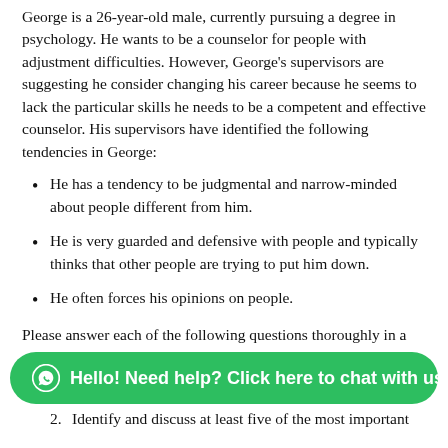George is a 26-year-old male, currently pursuing a degree in psychology. He wants to be a counselor for people with adjustment difficulties. However, George's supervisors are suggesting he consider changing his career because he seems to lack the particular skills he needs to be a competent and effective counselor. His supervisors have identified the following tendencies in George:
He has a tendency to be judgmental and narrow-minded about people different from him.
He is very guarded and defensive with people and typically thinks that other people are trying to put him down.
He often forces his opinions on people.
Please answer each of the following questions thoroughly in a paper that is a minimum of 800 words in length.
How will George's usual ways of dealing with people affect his attempt to be an effective counselor? Analyze each of the characteristics mentioned above. Find out what the...
Identify and discuss at least five of the most important...